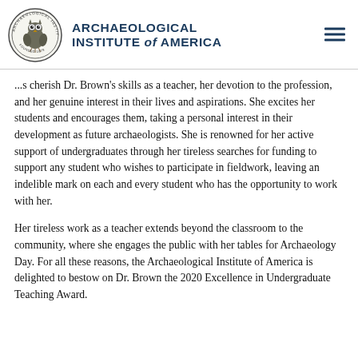Archaeological Institute of America
...s cherish Dr. Brown's skills as a teacher, her devotion to the profession, and her genuine interest in their lives and aspirations. She excites her students and encourages them, taking a personal interest in their development as future archaeologists. She is renowned for her active support of undergraduates through her tireless searches for funding to support any student who wishes to participate in fieldwork, leaving an indelible mark on each and every student who has the opportunity to work with her.
Her tireless work as a teacher extends beyond the classroom to the community, where she engages the public with her tables for Archaeology Day. For all these reasons, the Archaeological Institute of America is delighted to bestow on Dr. Brown the 2020 Excellence in Undergraduate Teaching Award.